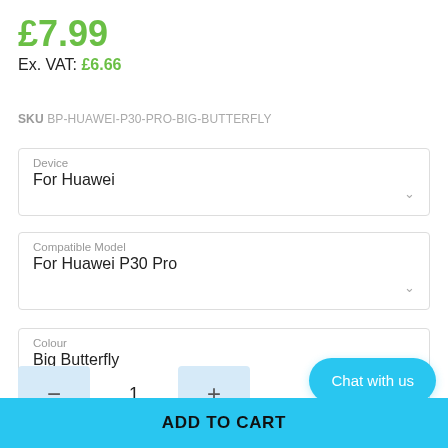£7.99
Ex. VAT: £6.66
SKU BP-HUAWEI-P30-PRO-BIG-BUTTERFLY
Device
For Huawei
Compatible Model
For Huawei P30 Pro
Colour
Big Butterfly
1
Chat with us
ADD TO CART